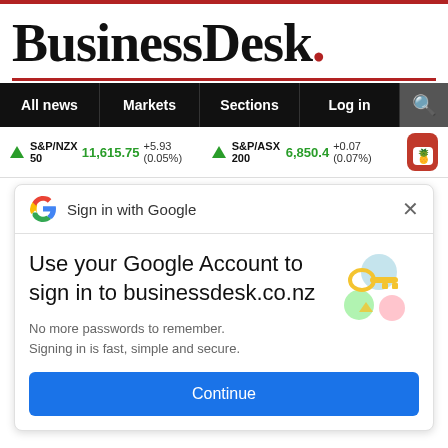[Figure (logo): BusinessDesk. logo with red dot and red horizontal rule]
All news | Markets | Sections | Log in | Search
S&P/NZX 50 11,615.75 +5.93 (0.05%) ▲  S&P/ASX 200 6,850.4 +0.07 (0.07%) ▲
[Figure (screenshot): Google Sign-in popup: 'Sign in with Google' header with G logo and X close button. Body text: 'Use your Google Account to sign in to businessdesk.co.nz'. Subtitle: 'No more passwords to remember. Signing in is fast, simple and secure.' Key illustration on right. Blue 'Continue' button at bottom.]